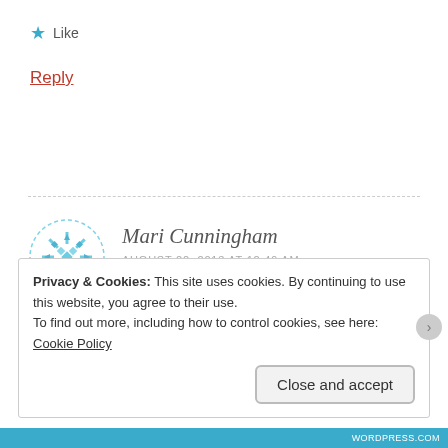★ Like
Reply
Mari Cunningham
AUGUST 22, 2013 AT 12:49 AM
Privacy & Cookies: This site uses cookies. By continuing to use this website, you agree to their use.
To find out more, including how to control cookies, see here: Cookie Policy
Close and accept